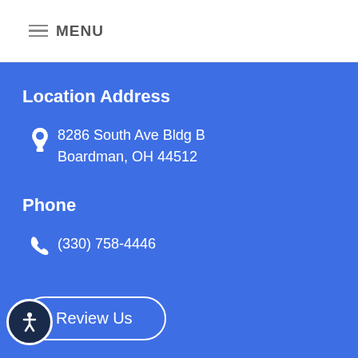MENU
Location Address
8286 South Ave Bldg B
Boardman, OH 44512
Phone
(330) 758-4446
Review Us